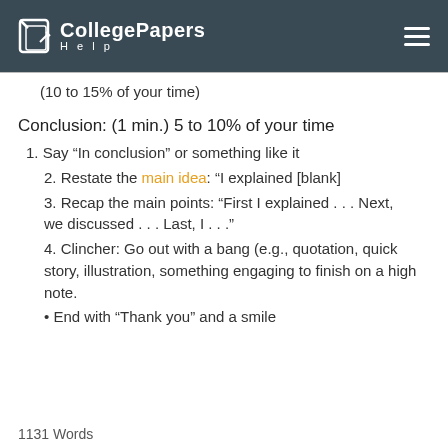CollegePapers Help
(10 to 15% of your time)
Conclusion: (1 min.) 5 to 10% of your time
1. Say “In conclusion” or something like it
2. Restate the main idea: “I explained [blank]
3. Recap the main points: “First I explained . . . Next, we discussed . . . Last, I . . .”
4. Clincher: Go out with a bang (e.g., quotation, quick story, illustration, something engaging to finish on a high note.
• End with “Thank you” and a smile
1131 Words